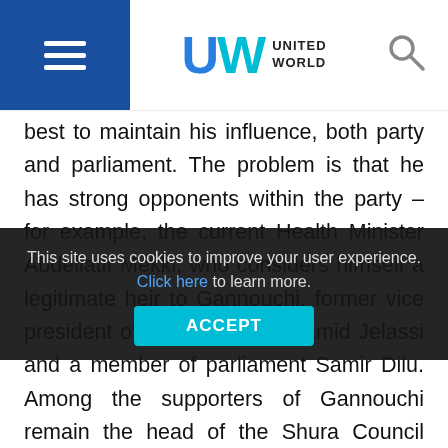United World
best to maintain his influence, both party and parliament. The problem is that he has strong opponents within the party – for example, the current Health Minister Abdellatif Mekki, who considers himself a legitimate heir to Gannouchi, former vice president of the party Abdelhamid Jelassi and a member of parliament Samir Dilu. Among the supporters of Gannouchi remain the head of the Shura Council Abdelkarim Harouni, a member of the executive bureau and son-in-law of Gannouchi Rafiq Abdul Salam and president of the political bureau Noureddine Arabi.
The disagreements concern issues of preserving the coalition and maximizing concessions – they manifested themselves, for example, on June 5